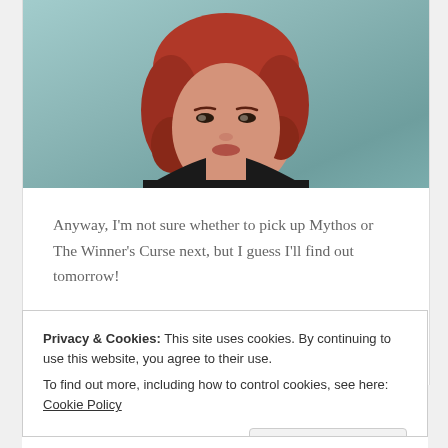[Figure (photo): Portrait photo of a woman with short red/auburn hair, looking slightly to the side, wearing a dark jacket. Blurred teal/blue background.]
Anyway, I'm not sure whether to pick up Mythos or The Winner's Curse next, but I guess I'll find out tomorrow!
Until the next time, Hx
Privacy & Cookies: This site uses cookies. By continuing to use this website, you agree to their use.
To find out more, including how to control cookies, see here: Cookie Policy
Close and accept